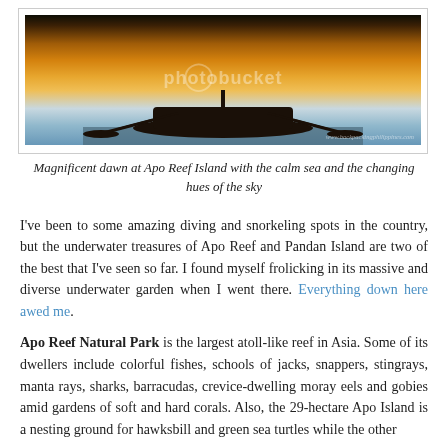[Figure (photo): Photograph of a traditional Filipino boat (bangka) silhouetted against a colorful dawn sky at Apo Reef Island, with calm sea water and orange-golden hues. Photobucket watermark overlay visible. Website watermark at bottom right.]
Magnificent dawn at Apo Reef Island with the calm sea and the changing hues of the sky
I've been to some amazing diving and snorkeling spots in the country, but the underwater treasures of Apo Reef and Pandan Island are two of the best that I've seen so far. I found myself frolicking in its massive and diverse underwater garden when I went there. Everything down here awed me.
Apo Reef Natural Park is the largest atoll-like reef in Asia. Some of its dwellers include colorful fishes, schools of jacks, snappers, stingrays, manta rays, sharks, barracudas, crevice-dwelling moray eels and gobies amid gardens of soft and hard corals. Also, the 29-hectare Apo Island is a nesting ground for hawksbill and green sea turtles while the other